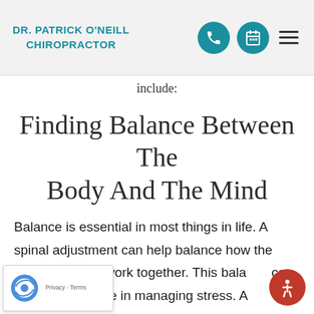DR. PATRICK O'NEILL CHIROPRACTOR
include:
Finding Balance Between The Body And The Mind
Balance is essential in most things in life. A spinal adjustment can help balance how the body and mind work together. This balance can play a critical role in managing stress. A